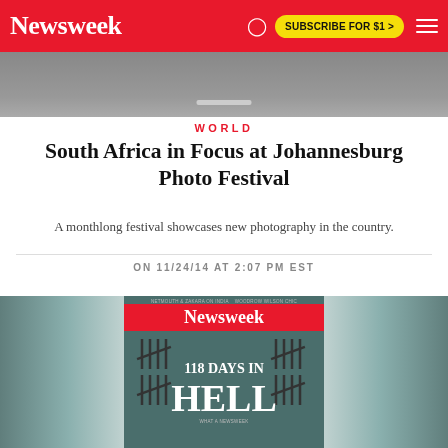Newsweek | SUBSCRIBE FOR $1 >
[Figure (photo): Hero image strip showing a road or asphalt surface from above]
WORLD
South Africa in Focus at Johannesburg Photo Festival
A monthlong festival showcases new photography in the country.
ON 11/24/14 AT 2:07 PM EST
[Figure (photo): Newsweek magazine cover showing '118 DAYS IN HELL' with tally marks on a dark background, flanked by blurred areas on left and right]